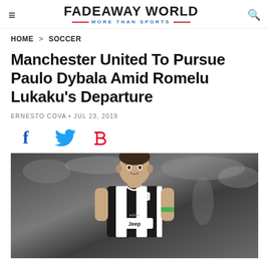FADEAWAY WORLD — MORE THAN SPORTS
HOME > SOCCER
Manchester United To Pursue Paulo Dybala Amid Romelu Lukaku's Departure
ERNESTO COVA • JUL 23, 2019
[Figure (other): Social share icons: Facebook (f), Twitter bird, Pinterest (P)]
[Figure (photo): Paulo Dybala in Juventus black-and-white striped jersey with Jeep sponsor, looking focused, blurred stadium crowd background]